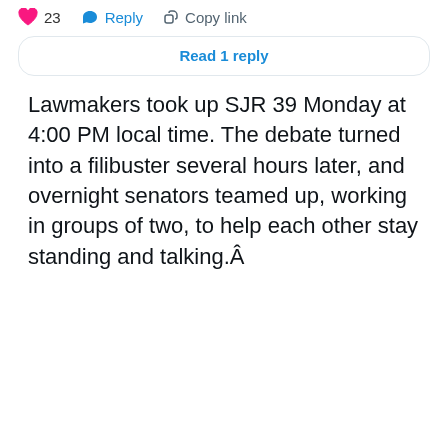[Figure (screenshot): Social media post interaction bar showing a pink heart icon with count 23, a blue reply icon with 'Reply' text, and a chain link icon with 'Copy link' text]
Read 1 reply
Lawmakers took up SJR 39 Monday at 4:00 PM local time. The debate turned into a filibuster several hours later, and overnight senators teamed up, working in groups of two, to help each other stay standing and talking.Â